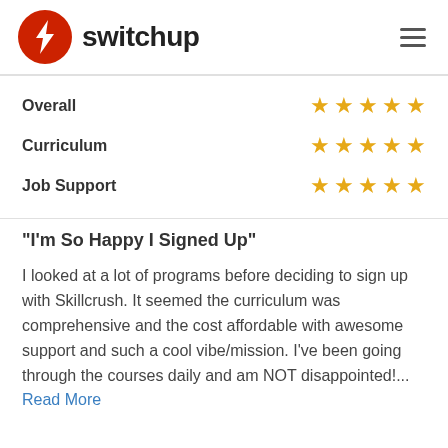switchup
| Overall | ★★★★★ |
| Curriculum | ★★★★★ |
| Job Support | ★★★★★ |
"I'm So Happy I Signed Up"
I looked at a lot of programs before deciding to sign up with Skillcrush. It seemed the curriculum was comprehensive and the cost affordable with awesome support and such a cool vibe/mission. I've been going through the courses daily and am NOT disappointed!... Read More